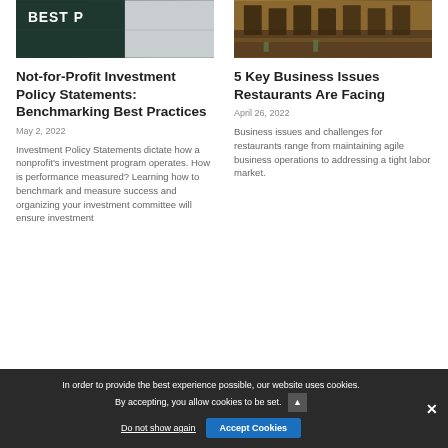[Figure (photo): Street sign with text 'BEST' visible, dark background]
[Figure (photo): Restaurant interior with chairs and tables on wooden deck]
Not-for-Profit Investment Policy Statements: Benchmarking Best Practices
May 2, 2022
Investment Policy Statements dictate how a nonprofit’s investment program operates. How is performance measured? Learning how to benchmark and measure success and organizing your investment committee will ensure investment
5 Key Business Issues Restaurants Are Facing
April 26, 2022
Business issues and challenges for restaurants range from maintaining agile business operations to addressing a tight labor market.
In order to provide the best experience possible, our website uses cookies. By accepting, you allow cookies to be set. Do not show again Accept Cookies